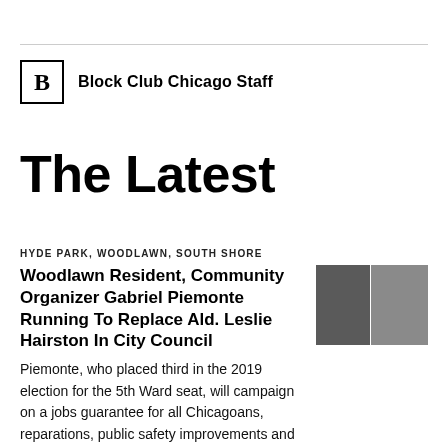Block Club Chicago Staff
The Latest
HYDE PARK, WOODLAWN, SOUTH SHORE
Woodlawn Resident, Community Organizer Gabriel Piemonte Running To Replace Ald. Leslie Hairston In City Council
[Figure (photo): Two side-by-side photos: a man on the left and a group of people on the right]
Piemonte, who placed third in the 2019 election for the 5th Ward seat, will campaign on a jobs guarantee for all Chicagoans, reparations, public safety improvements and better housing